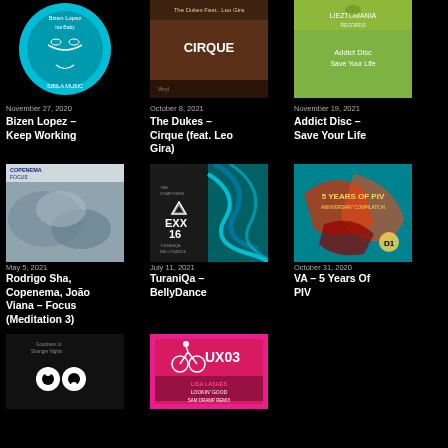[Figure (photo): Album art for Bizen Lopez – Keep Working, teal circular design on black background]
November 27, 2020
Bizen Lopez – Keep Working
[Figure (photo): Album art for The Dukes feat. Leo Gira – Cirque, brown/dark tones]
October 8, 2021
The Dukes – Cirque (feat. Leo Gira)
[Figure (photo): Album art for Addict Disc – Save Your Life, olive/green tones with Lieztomania label]
November 19, 2021
Addict Disc – Save Your Life
[Figure (photo): Album art for Rodrigo Sha, Copenema, João Viana – Focus (Meditation 3), gray/blue cloudy tones]
May 5, 2021
Rodrigo Sha, Copenema, João Viana – Focus (Meditation 3)
[Figure (photo): Album art for TuraniQa – BellyDance, dark background with EXX 16 text and blue swirling design]
July 11, 2021
TuraniQa – BellyDance
[Figure (photo): Album art for VA – 5 Years Of PIV, teal with red abstract shapes]
October 31, 2020
VA – 5 Years Of PIV
[Figure (photo): Album art partially visible, dark with yin-yang like figure]
[Figure (photo): Album art for UX03 compilation, pink/magenta with UX03 text, Lisa Lashes Lookin Good Sam Dramp Remix]